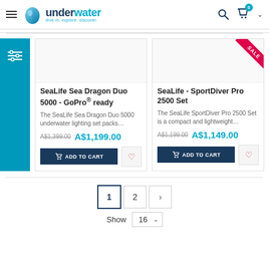underwater - dive in. explore. discover.
[Figure (screenshot): Product listing for SeaLife Sea Dragon Duo 5000 - GoPro ready showing product image placeholder, price A$1,399.00 old, A$1,199.00 new, Add to Cart button and wishlist icon]
[Figure (screenshot): Product listing for SeaLife - SportDiver Pro 2500 Set with SALE ribbon, price A$1,199.00 old, A$1,149.00 new, Add to Cart button and wishlist icon]
1 2 > Show 16
Show 16